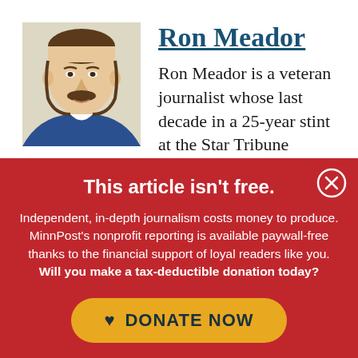[Figure (illustration): Illustrated portrait of Ron Meador, showing a man with dark hair and a mustache wearing a blue jacket, drawn in a stylized editorial cartoon style.]
Ron Meador
Ron Meador is a veteran journalist whose last decade in a 25-year stint at the Star Tribune involved writing
This article isn't free.
Independent, in-depth journalism costs money to produce. MinnPost's nonprofit reporting is available paywall-free thanks to the financial support of loyal readers like you. Will you make a tax-deductible donation today?
DONATE NOW